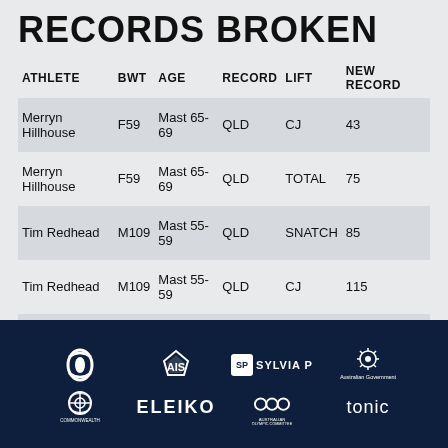RECORDS BROKEN
| ATHLETE | BWT | AGE | RECORD | LIFT | NEW RECORD |
| --- | --- | --- | --- | --- | --- |
| Merryn Hillhouse | F59 | Mast 65-69 | QLD | CJ | 43 |
| Merryn Hillhouse | F59 | Mast 65-69 | QLD | TOTAL | 75 |
| Tim Redhead | M109 | Mast 55-59 | QLD | SNATCH | 85 |
| Tim Redhead | M109 | Mast 55-59 | QLD | CJ | 115 |
| Tim Redhead | M109 | Mast 55-59 | QLD | TOTAL | 200 |
[Figure (logo): Sponsor logos footer: Telstra, AIS, Sylvia P, Australian Government, Commonwealth Games, ELEIKO, Australian Olympic Committee, tonic]